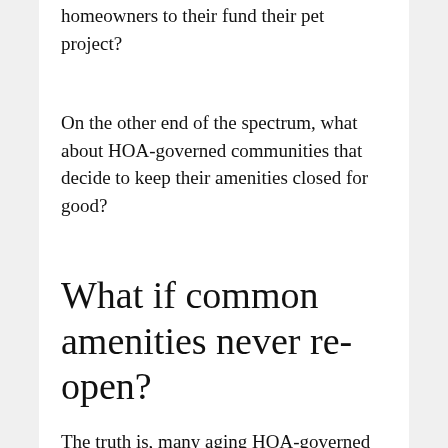homeowners to their fund their pet project?
On the other end of the spectrum, what about HOA-governed communities that decide to keep their amenities closed for good?
What if common amenities never re-open?
The truth is, many aging HOA-governed